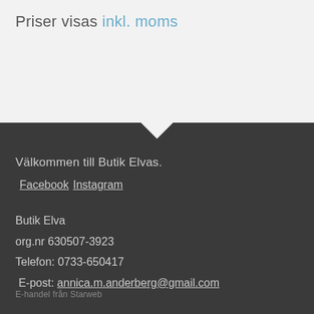Priser visas inkl. moms
Välkommen till Butik Elvas.
Facebook Instagram
Butik Elva
org.nr 630507-3923
Telefon: 0733-650417
E-post: annica.m.anderberg@gmail.com
E-handel från Starweb